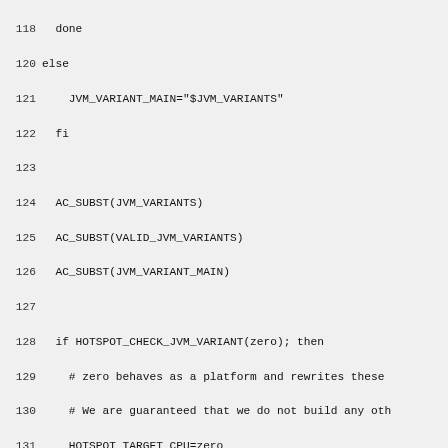Code listing lines 118-149, shell/autoconf script
118   done
120 else
121     JVM_VARIANT_MAIN="$JVM_VARIANTS"
122   fi
123
124   AC_SUBST(JVM_VARIANTS)
125   AC_SUBST(VALID_JVM_VARIANTS)
126   AC_SUBST(JVM_VARIANT_MAIN)
127
128   if HOTSPOT_CHECK_JVM_VARIANT(zero); then
129     # zero behaves as a platform and rewrites these
130     # We are guaranteed that we do not build any oth
131     HOTSPOT_TARGET_CPU=zero
132     HOTSPOT_TARGET_CPU_ARCH=zero
133   fi
134 ])
135
136 ###################################################
137 # Check if dtrace should be enabled and has all pre
138 #
139 AC_DEFUN_ONCE([HOTSPOT_SETUP_DTRACE],
140 [
141   # Test for dtrace dependencies
142   AC_ARG_ENABLE([dtrace], [AS_HELP_STRING([--enable-
143       [enable dtrace. Default is auto, where dtrace
144       are present.]])
145
146   DTRACE_DEP_MISSING=false
147
148   AC_MSG_CHECKING([for dtrace tool])
149   if test "x$DTRACE" != "x" && test -x "$DTRACE"; t